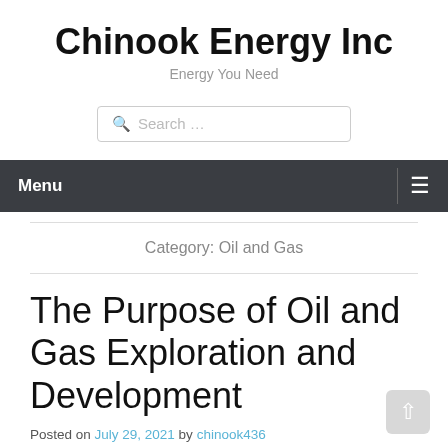Chinook Energy Inc
Energy You Need
Search …
Menu
Category: Oil and Gas
The Purpose of Oil and Gas Exploration and Development
Posted on July 29, 2021 by chinook436